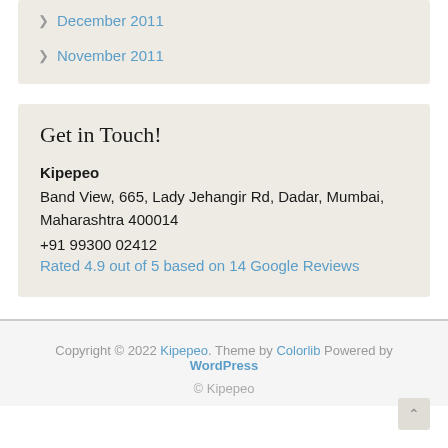December 2011
November 2011
Get in Touch!
Kipepeo
Band View, 665, Lady Jehangir Rd, Dadar, Mumbai, Maharashtra 400014
+91 99300 02412
Rated 4.9 out of 5 based on 14 Google Reviews
Copyright © 2022 Kipepeo. Theme by Colorlib Powered by WordPress
© Kipepeo